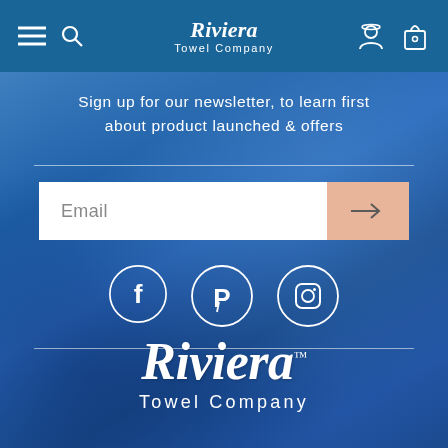[Figure (screenshot): Navigation bar with hamburger menu, search icon, Riviera Towel Company logo, user icon, and cart icon on blue background]
Sign up for our newsletter, to learn first about product launched & offers
[Figure (other): Email signup form with text input field and peach/salmon colored submit button with arrow]
[Figure (other): Social media icons: Facebook, Pinterest, Instagram in white circle outlines]
[Figure (logo): Riviera Towel Company logo in white script font on blue background]